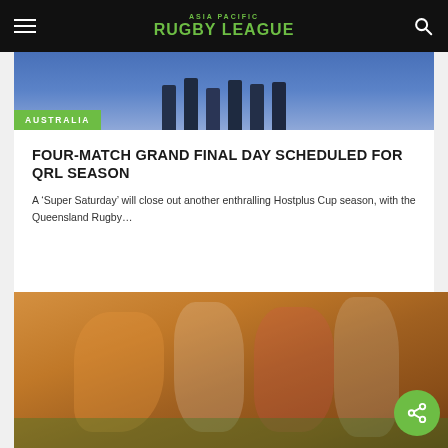ASIA PACIFIC RUGBY LEAGUE
[Figure (photo): Sports team players legs visible, partial view from waist down on a field, with Australia green badge overlay]
AUSTRALIA
FOUR-MATCH GRAND FINAL DAY SCHEDULED FOR QRL SEASON
A ‘Super Saturday’ will close out another enthralling Hostplus Cup season, with the Queensland Rugby…
[Figure (photo): Rugby league players in orange/brown uniforms competing against players in white and red uniforms on a field]